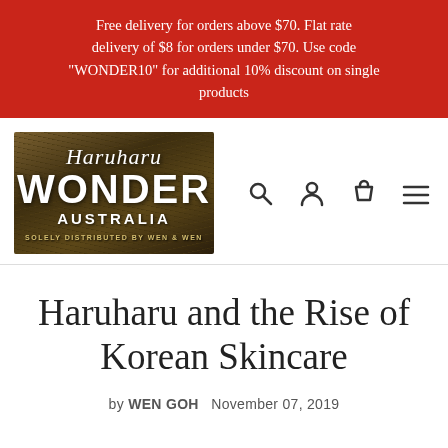Free delivery for orders above $70. Flat rate delivery of $8 for orders under $70. Use code "WONDER10" for additional 10% discount on single products
[Figure (logo): Haruharu Wonder Australia logo — text on dark fibrous/grass background. Italic script 'Haruharu' at top, bold 'WONDER' in large letters, 'AUSTRALIA' below, tagline 'SOLELY DISTRIBUTED BY WEN & WEN']
Haruharu and the Rise of Korean Skincare
by WEN GOH   November 07, 2019